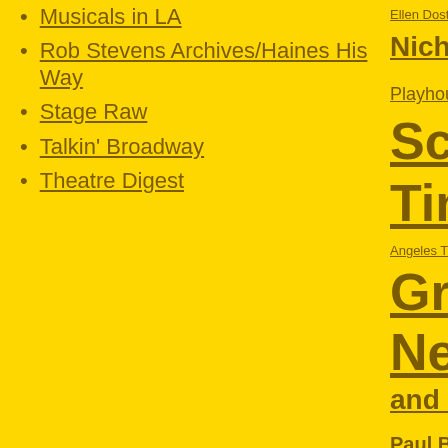Musicals in LA
Rob Stevens Archives/Haines His Way
Stage Raw
Talkin' Broadway
Theatre Digest
Ellen Dostal Erin Nicholson Frontiers Playhouse Haines Schwartz Katie B Times LA W Angeles Theatre Center L Gray Melinda Schu Neal Weaver and Screen Pantage Paul Birchall Pau Stevens Sharon Per Raw Steven L Morgan Theate